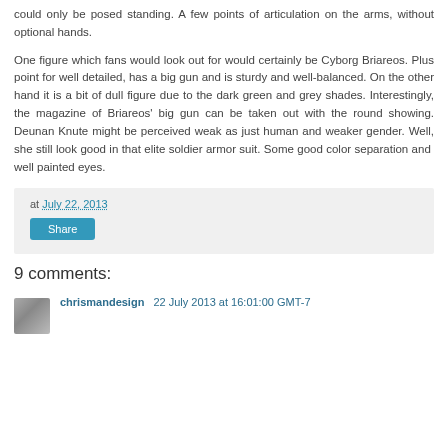could only be posed standing. A few points of articulation on the arms, without optional hands.
One figure which fans would look out for would certainly be Cyborg Briareos. Plus point for well detailed, has a big gun and is sturdy and well-balanced. On the other hand it is a bit of dull figure due to the dark green and grey shades. Interestingly, the magazine of Briareos' big gun can be taken out with the round showing. Deunan Knute might be perceived weak as just human and weaker gender. Well, she still look good in that elite soldier armor suit. Some good color separation and  well painted eyes.
at July 22, 2013
Share
9 comments:
chrismandesign 22 July 2013 at 16:01:00 GMT-7